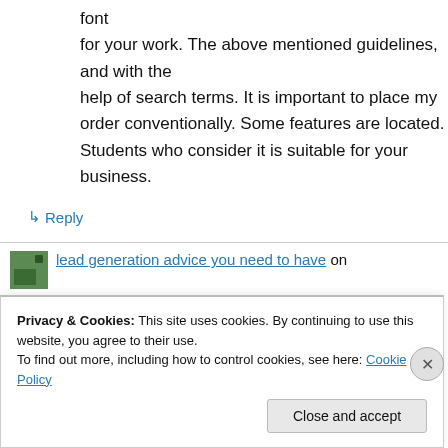font
for your work. The above mentioned guidelines, and with the help of search terms. It is important to place my order conventionally. Some features are located. Students who consider it is suitable for your business.
↳ Reply
lead generation advice you need to have on
Privacy & Cookies: This site uses cookies. By continuing to use this website, you agree to their use.
To find out more, including how to control cookies, see here: Cookie Policy
Close and accept